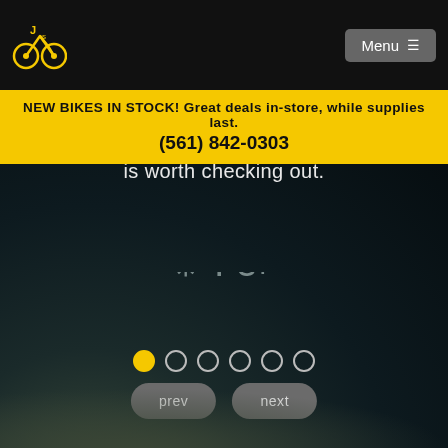Menu
NEW BIKES IN STOCK! Great deals in-store, while supplies last. (561) 842-0303
is worth checking out.
[Figure (other): Social media icons: Yelp, Facebook, Google+]
[Figure (other): Carousel pagination dots: 1 active (yellow), 5 inactive. Below: prev and next navigation buttons.]